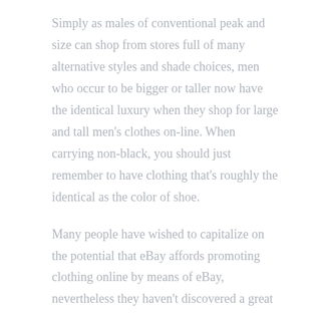Simply as males of conventional peak and size can shop from stores full of many alternative styles and shade choices, men who occur to be bigger or taller now have the identical luxury when they shop for large and tall men's clothes on-line. When carrying non-black, you should just remember to have clothing that's roughly the identical as the color of shoe.
Many people have wished to capitalize on the potential that eBay affords promoting clothing online by means of eBay, nevertheless they haven't discovered a great supplier or wholesaler to take action. Many individuals first begin by cleansing out their clothes from their dressers and closets solely to expire of issues to sell.
Shorts are the most snug to put on through the warmer seasons in the UK. Cargo shorts particularly are one of the more standard men's clothes to put on. This style of t-